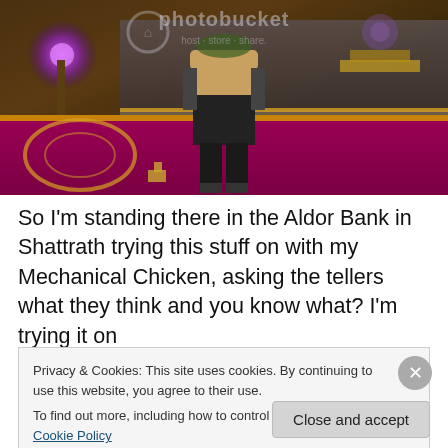[Figure (screenshot): Screenshot of a World of Warcraft character (female night elf or similar) standing in the Aldor Bank in Shattrath, with a Mechanical Chicken companion visible nearby. A purple glowing orb is on the left. The floor has a decorative red and gold carpet. A Photobucket watermark is visible in the upper area.]
So I'm standing there in the Aldor Bank in Shattrath trying this stuff on with my Mechanical Chicken, asking the tellers what they think and you know what? I'm trying it on
Privacy & Cookies: This site uses cookies. By continuing to use this website, you agree to their use.
To find out more, including how to control cookies, see here: Cookie Policy
Close and accept